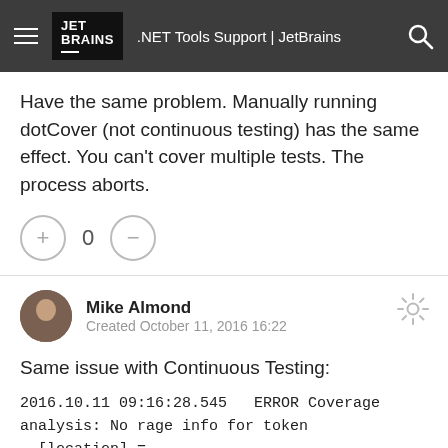.NET Tools Support | JetBrains
Have the same problem. Manually running dotCover (not continuous testing) has the same effect. You can't cover multiple tests. The process aborts.
Mike Almond
Created October 11, 2016 16:22
Same issue with Continuous Testing:
2016.10.11 09:16:28.545   ERROR Coverage analysis: No rage info for token
  [location] =
src\Profiler\Coverage\module_gatherer.cpp(153)